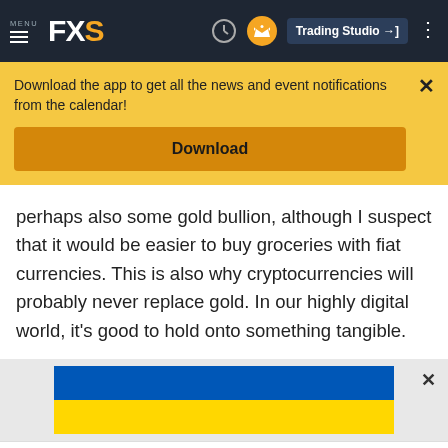MENU FXS Trading Studio
Download the app to get all the news and event notifications from the calendar!
Download
perhaps also some gold bullion, although I suspect that it would be easier to buy groceries with fiat currencies. This is also why cryptocurrencies will probably never replace gold. In our highly digital world, it's good to hold onto something tangible.
[Figure (illustration): Ukrainian flag - two horizontal stripes, blue on top and yellow on bottom]
©2022 "FXStreet" All Rights Reserved    Disclaimer ▲